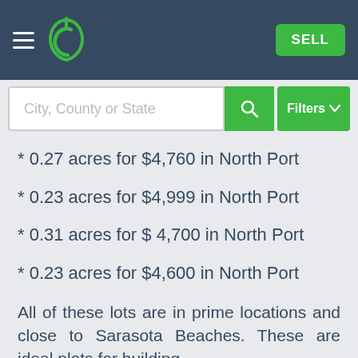Header navigation with logo and SELL button
* 0.27 acres for $4,760 in North Port
* 0.23 acres for $4,999 in North Port
* 0.31 acres for $ 4,700 in North Port
* 0.23 acres for $4,600 in North Port
All of these lots are in prime locations and close to Sarasota Beaches. These are ideal plots for building